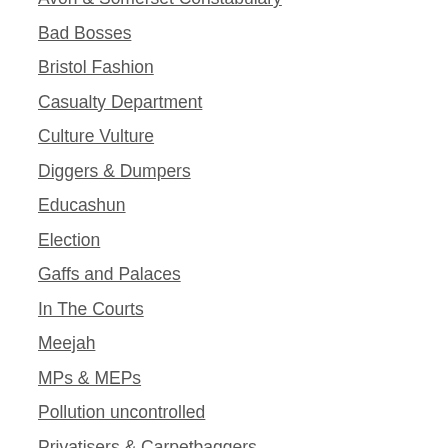Avon & Somerset Constabulary
Bad Bosses
Bristol Fashion
Casualty Department
Culture Vulture
Diggers & Dumpers
Educashun
Election
Gaffs and Palaces
In The Courts
Meejah
MPs & MEPs
Pollution uncontrolled
Privatisers & Carpetbaggers
QuangoLand
Road & Rail
Shitty Hall
Skools & Edukashun
Sport & Leisure